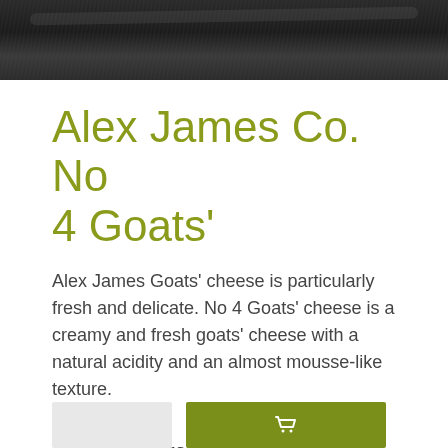[Figure (photo): Dark textured slate/stone surface serving as a product banner image at the top of the page]
Alex James Co. No 4 Goats'
Alex James Goats' cheese is particularly fresh and delicate. No 4 Goats' cheese is a creamy and fresh goats' cheese with a natural acidity and an almost mousse-like texture.
£4.95 (approx. 100g)
[Figure (screenshot): Two buttons at the bottom: a light grey button on the left and a green/olive coloured button on the right with a basket/cart icon]